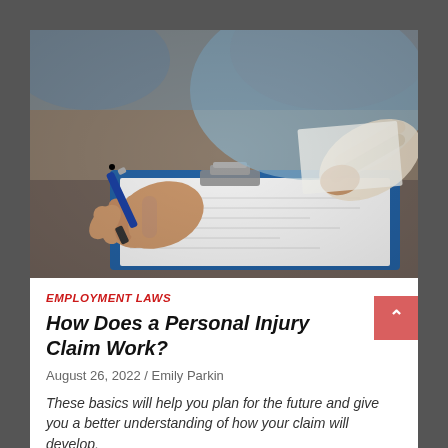[Figure (photo): Close-up photo of a person with an injured/bandaged arm holding a form on a blue clipboard, while another hand holds a blue pen writing on the form.]
EMPLOYMENT LAWS
How Does a Personal Injury Claim Work?
August 26, 2022 / Emily Parkin
These basics will help you plan for the future and give you a better understanding of how your claim will develop.